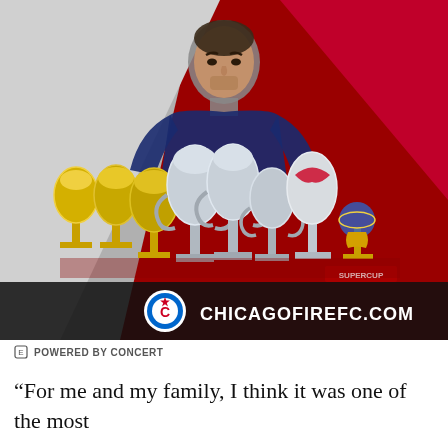[Figure (photo): Chicago Fire FC promotional image showing a soccer player in uniform surrounded by multiple trophies on a red and grey background, with the Chicago Fire FC logo and CHICAGOFIREFC.COM text at the bottom]
POWERED BY CONCERT
“For me and my family, I think it was one of the most